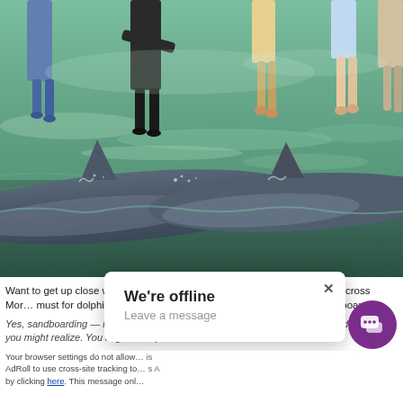[Figure (photo): Close-up photo of dolphins in shallow water at Moreton Island, with people (tourists) visible standing in the water behind the dolphins. The dolphins' dorsal fins and backs are prominent in the foreground, with water reflections visible.]
Want to get up close with dolphins? Moreton Island is your best bet. Just across Mor... must for dolphin-feeding, kayaking, shipwreck snorkeling and sandboarding.
Yes, sandboarding — it's exactly like snowboarding except with sand! Riding down th... you might realize. You might li... ept an... Your browser settings do not allow... is AdRoll to use cross-site tracking to... s A... by clicking here. This message onl... nature. Be sure to stay the course after the base minimum sandboarding...
We're offline
Leave a message